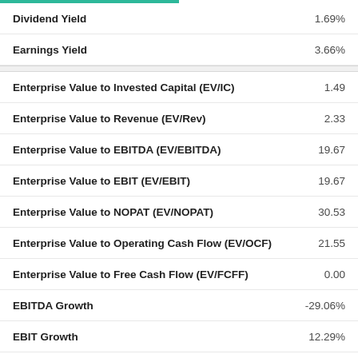| Metric | Value |
| --- | --- |
| Dividend Yield | 1.69% |
| Earnings Yield | 3.66% |
| Enterprise Value to Invested Capital (EV/IC) | 1.49 |
| Enterprise Value to Revenue (EV/Rev) | 2.33 |
| Enterprise Value to EBITDA (EV/EBITDA) | 19.67 |
| Enterprise Value to EBIT (EV/EBIT) | 19.67 |
| Enterprise Value to NOPAT (EV/NOPAT) | 30.53 |
| Enterprise Value to Operating Cash Flow (EV/OCF) | 21.55 |
| Enterprise Value to Free Cash Flow (EV/FCFF) | 0.00 |
| EBITDA Growth | -29.06% |
| EBIT Growth | 12.29% |
| NOPAT Growth | -37.16% |
| Net Income Growth | -29.31% |
| EPS Growth | -29.35% |
| Operating Cash Flow Growth | 7.26% |
| Free Cash Flow Firm Growth | -47.50% |
| Invested Capital Growth | 11.95% |
Show More Metrics